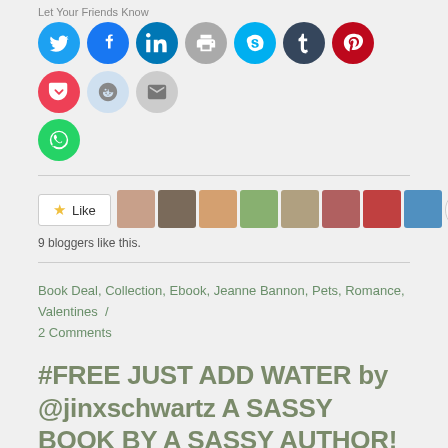Let Your Friends Know
[Figure (infographic): Row of social media sharing icon buttons: Twitter, Facebook, LinkedIn, Print, Skype, Tumblr, Pinterest, Pocket, Reddit, Email, WhatsApp]
[Figure (infographic): Like button with star icon and 9 blogger avatar thumbnails]
9 bloggers like this.
Book Deal, Collection, Ebook, Jeanne Bannon, Pets, Romance, Valentines / 2 Comments
#FREE JUST ADD WATER by @jinxschwartz A SASSY BOOK BY A SASSY AUTHOR!